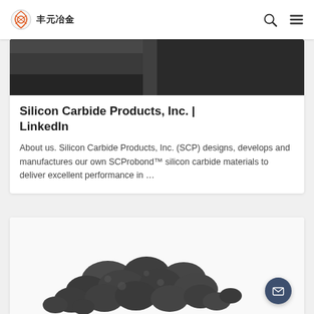丰元冶金
[Figure (screenshot): Dark metallic material / product image at top of card]
Silicon Carbide Products, Inc. | LinkedIn
About us. Silicon Carbide Products, Inc. (SCP) designs, develops and manufactures our own SCProbond™ silicon carbide materials to deliver excellent performance in …
[Figure (photo): Pile of dark silicon carbide granules/chunks on white background]